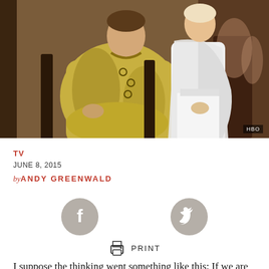[Figure (photo): Two figures in costume: one in yellow/gold robes seated on the left, another in white outfit on the right, with blurred background figures. HBO watermark in bottom right corner.]
TV
JUNE 8, 2015
by ANDY GREENWALD
[Figure (other): Facebook and Twitter social share icon buttons (grey circles with f and bird logos)]
[Figure (other): Print icon button with PRINT label]
I suppose the thinking went something like this: If we are going to have a father burn his only child to death, it should